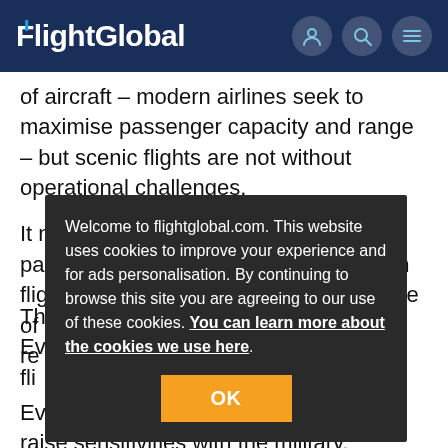FlightGlobal
of aircraft – modern airlines seek to maximise passenger capacity and range – but scenic flights are not without operational challenges.
It may be a domestic trip from passengers' perspective; however, such flightpaths could extend into the airspace of neighbouring countries, requiring diplomatic and regulatory clearance.
This could also involve flying over less charted territory. Even with modern navigation, for both pilots and airlines, filing unfamiliar routes presents additional complications.
Even flying to remote domestic destinations may raise sensitivities with the military. Especially in countries of smaller land mass, busy airspace could require rescheduling
Welcome to flightglobal.com. This website uses cookies to improve your experience and for ads personalisation. By continuing to browse this site you are agreeing to our use of these cookies. You can learn more about the cookies we use here.